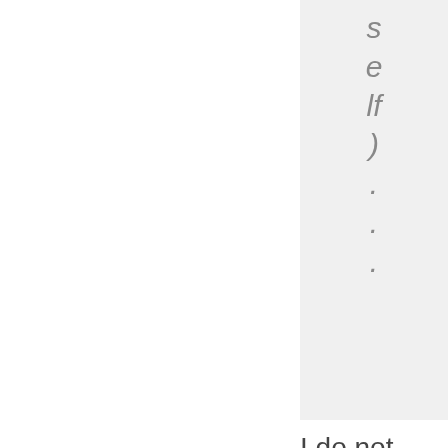self)...
I do not wish to use the 4-component-distribution version of the data for